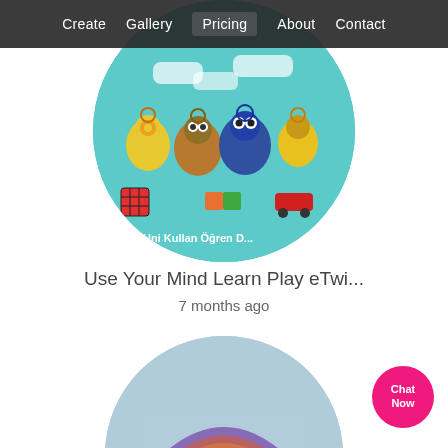Create  Gallery  Pricing  About  Contact
[Figure (photo): Circular mosaic image with teal background featuring owl characters with gear heads, a Rubik's cube, puzzle pieces, a toy car, and text 'Uni Kullan Öğren D...' — an eTwinning project logo]
Use Your Mind Learn Play eTwi...
7 months ago
[Figure (photo): Circular mosaic image showing a rainbow arc made of colorful text over a light blue background with words Unity, Italy, Diversity, Poland visible — a Unity in Diversity themed artwork]
Chat Now